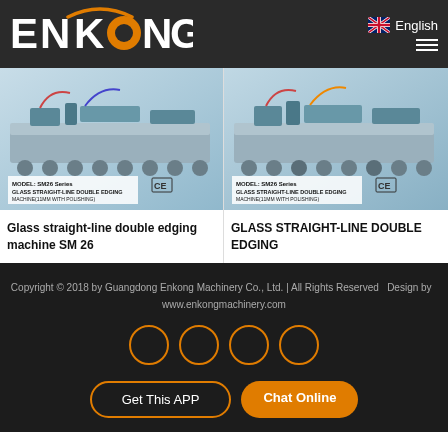[Figure (logo): Enkong logo on dark header background with orange circle accent and arc above the O]
English
[Figure (photo): Glass straight-line double edging machine SM26 Series product photo showing industrial machinery]
Glass straight-line double edging machine SM 26
[Figure (photo): GLASS STRAIGHT-LINE DOUBLE EDGING machine SM26 Series product photo showing industrial machinery]
GLASS STRAIGHT-LINE DOUBLE EDGING
Copyright © 2018 by Guangdong Enkong Machinery Co., Ltd. | All Rights Reserved  Design by  www.enkongmachinery.com
Get This APP
Chat Online